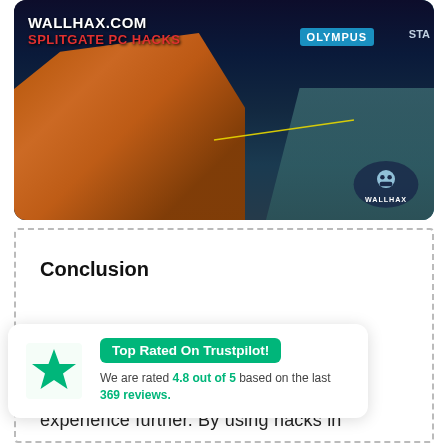[Figure (screenshot): Splitgate PC game screenshot from Wallhax.com showing armored player characters in an orange suit aiming weapons in a futuristic sci-fi arena with blue/teal lighting, OLYMPUS sign in background. Top-left overlay text says WALLHAX.COM and SPLITGATE PC HACKS in red. Bottom-right shows Wallhax logo.]
Conclusion
As you can see, there are plenty of
[Figure (infographic): Trustpilot widget showing a green star icon on the left, a green badge reading 'Top Rated On Trustpilot!' and text: We are rated 4.8 out of 5 based on the last 369 reviews.]
experience further. By using hacks in